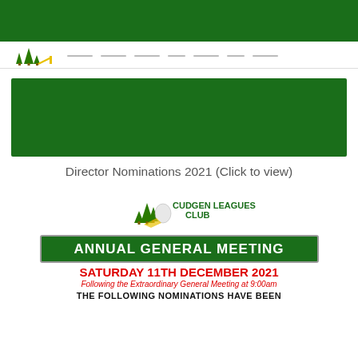[Figure (logo): Website header with green navigation bar at top, pine tree logo and navigation menu dashes below]
[Figure (illustration): Large green banner/image block in the middle of the page]
Director Nominations 2021 (Click to view)
[Figure (logo): Cudgen Leagues Club logo with pine trees and a bowler figure, text reads CUDGEN LEAGUES CLUB]
ANNUAL GENERAL MEETING
SATURDAY 11TH DECEMBER 2021
Following the Extraordinary General Meeting at 9:00am
THE FOLLOWING NOMINATIONS HAVE BEEN